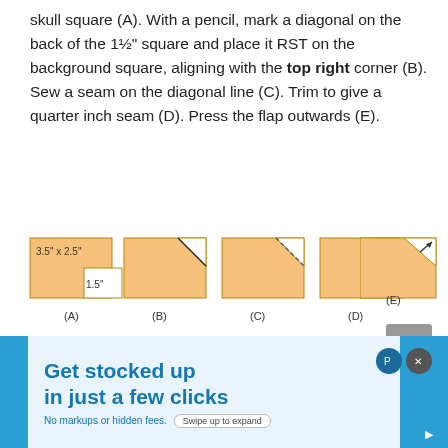skull square (A). With a pencil, mark a diagonal on the back of the 1½" square and place it RST on the background square, aligning with the top right corner (B). Sew a seam on the diagonal line (C). Trim to give a quarter inch seam (D). Press the flap outwards (E).
[Figure (illustration): Five diagrams (A) through (E) showing steps to attach a small square to a larger rectangle: (A) separate pieces labeled 3.5"x2.5" and 1.5"; (B) small white square placed on top-right corner of orange rectangle with diagonal line; (C) dashed diagonal line showing sewing line; (D) dashed line showing trim line; (E) result with flap pressed outward.]
(A)  (B)  (C)  (D)  (E)
[Figure (other): Advertisement banner: 'Get stocked up in just a few clicks. No markups or hidden fees.' with a 'Swipe up to expand' button.]